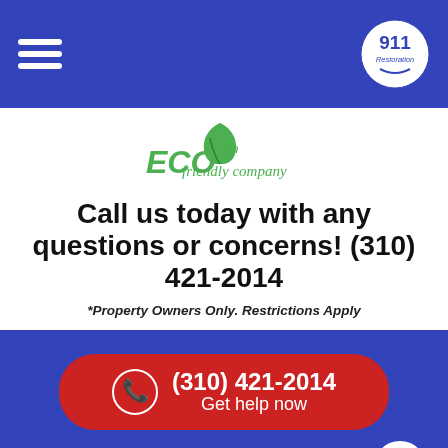[Figure (logo): Navigation bar with hamburger menu icon on left and 911 Restoration logo on right, blue background]
[Figure (logo): An ECO friendly company logo with green leaf and green italic text]
Call us today with any questions or concerns! (310) 421-2014
*Property Owners Only. Restrictions Apply
Alhambra | Altadena | Arcadia | Avocado Heights | Azusa | Baldwin Park | Bell | Bell Gardens | Bellflower | Beverly Hills | Burbank | Calabasas | Canoga Park | Cerritos | Claremont | Commerce | Covina | Culver City | Cypress | Diamond Bar | Downey | Duarte | East Los Angeles | El Camino Village | El Monte | El Segundo | Encino | Florence-Graham | Gardena | Glendale | Glendora | Granada Hills | Hacienda Heights | Hawthorne | Hermosa Beach | Huntington Park | Inglewood | Irwindale | La Canada | La Mirada | La Puente | La Verne | Lakewood | Lawndale | Los Angeles | Lynwood | Malibu | Manhattan Beach | Marina del Rey | Maywood | Mission Hills | Monrovia | Montebello | Monterey Park | North Hills | North Hollywood | Northridge | Norwalk | Pacific Palisades | Pacoima | Panorama City | Paramount | Pasadena | Pico Rivera | Playa del Rey | Pomona | Porter Ranch |
(310) 421-2014
Get help now